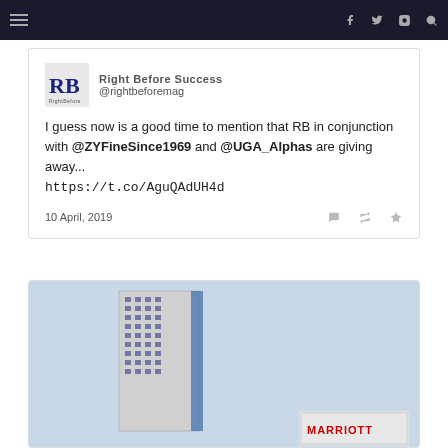Navigation bar with hamburger menu and social icons (f, twitter, instagram, search)
Right Before Success
@rightbeforemag

I guess now is a good time to mention that RB in conjunction with @ZYFineSince1969 and @UGA_Alphas are giving away...
https://t.co/AguQAdUH4d

10 April, 2019
[Figure (photo): Tall modern skyscraper building against a light blue sky, with a Marriott hotel sign visible at the lower right]